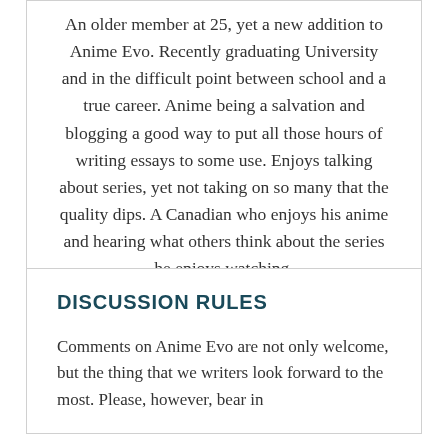An older member at 25, yet a new addition to Anime Evo. Recently graduating University and in the difficult point between school and a true career. Anime being a salvation and blogging a good way to put all those hours of writing essays to some use. Enjoys talking about series, yet not taking on so many that the quality dips. A Canadian who enjoys his anime and hearing what others think about the series he enjoys watching.
DISCUSSION RULES
Comments on Anime Evo are not only welcome, but the thing that we writers look forward to the most. Please, however, bear in